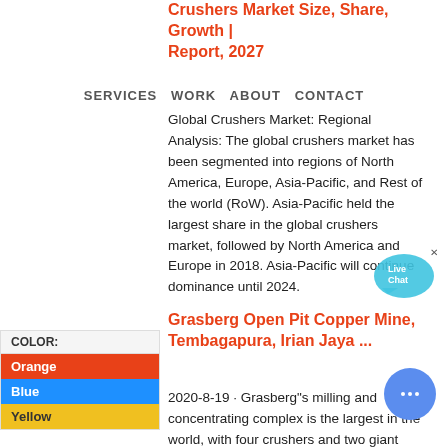Crushers Market Size, Share, Growth | Report, 2027
SERVICES   WORK   ABOUT   CONTACT
Global Crushers Market: Regional Analysis: The global crushers market has been segmented into regions of North America, Europe, Asia-Pacific, and Rest of the world (RoW). Asia-Pacific held the largest share in the global crushers market, followed by North America and Europe in 2018. Asia-Pacific will continue dominance until 2024.
Grasberg Open Pit Copper Mine, Tembagapura, Irian Jaya ...
[Figure (other): Color swatch panel showing COLOR: label with Orange, Blue, and Yellow swatches]
[Figure (other): Live Chat speech bubble widget in cyan/blue]
2020-8-19 · Grasberg"s milling and concentrating complex is the largest in the world, with four crushers and two giant semi-autogenous grinding (SAG) units processing a daily average of 240,000t of ore. A flotation reagent is used to separate concentrate from ...
[Figure (other): Blue circular chat button with ellipsis icon]